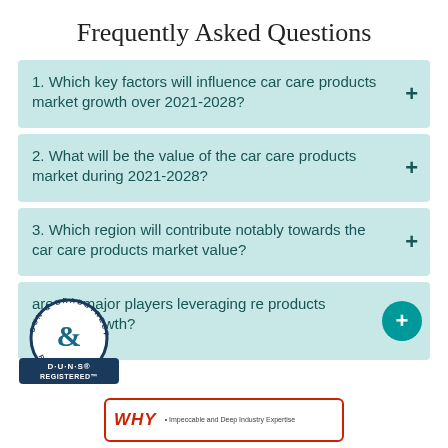Frequently Asked Questions
1. Which key factors will influence car care products market growth over 2021-2028?
2. What will be the value of the car care products market during 2021-2028?
3. Which region will contribute notably towards the car care products market value?
4. [How] are the major players leveraging [car ca]re products market growth?
[Figure (logo): Dun & Bradstreet D-U-N-S Registered badge/seal]
WHY  • Impeccable and Deep Industry Expertise